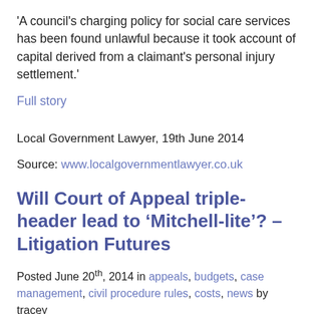'A council's charging policy for social care services has been found unlawful because it took account of capital derived from a claimant's personal injury settlement.'
Full story
Local Government Lawyer, 19th June 2014
Source: www.localgovernmentlawyer.co.uk
Will Court of Appeal triple-header lead to 'Mitchell-lite'? – Litigation Futures
Posted June 20th, 2014 in appeals, budgets, case management, civil procedure rules, costs, news by tracey
'A barrister who has led the way in analysing the impact of the Mitchell case has predicted that this week's hearing of three "trivial breach" cases at the Court of Appeal could pave the way